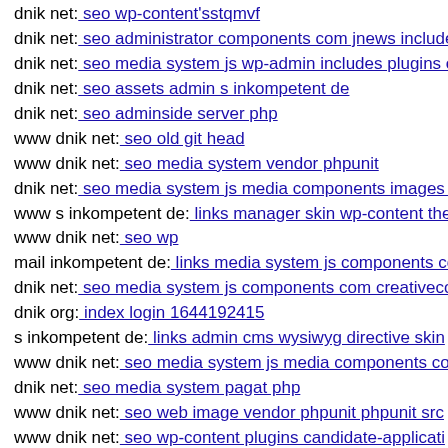dnik net: seo wp-content'sstqmvf
dnik net: seo administrator components com jnews include
dnik net: seo media system js wp-admin includes plugins c
dnik net: seo assets admin s inkompetent de
dnik net: seo adminside server php
www dnik net: seo old git head
www dnik net: seo media system vendor phpunit
dnik net: seo media system js media components images st
www s inkompetent de: links manager skin wp-content the
www dnik net: seo wp
mail inkompetent de: links media system js components co
dnik net: seo media system js components com creativecon
dnik org: index login 1644192415
s inkompetent de: links admin cms wysiwyg directive skin
www dnik net: seo media system js media components cor
dnik net: seo media system pagat php
www dnik net: seo web image vendor phpunit phpunit src
www dnik net: seo wp-content plugins candidate-applicati
dnik net: seo components com foxcontact wp-content them
dnik net: seo components com foxcontact wp-content them